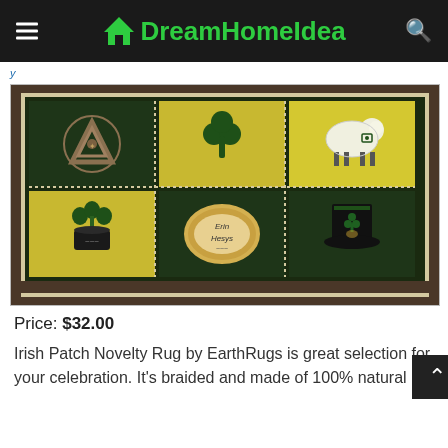DreamHomeIdea
[Figure (photo): Irish Patch Novelty Rug showing 6 panels with Irish themed designs: Celtic knot, shamrock, sheep, potted shamrock flowers, Erin Hesys oval plaque, and a black top hat. Rug has dark border with yellow and dark green alternating panels.]
Price: $32.00
Irish Patch Novelty Rug by EarthRugs is great selection for your celebration. It's braided and made of 100% natural